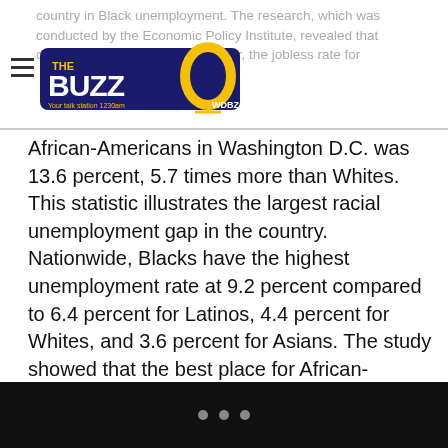country in Black unemployment. The research, which was conducted by the Economic Policy Institute, revealed that during the third quarter of this year, the jobless rate for
[Figure (logo): The Buzz WDBZ logo with microphone graphic, radio station 1230am]
African-Americans in Washington D.C. was 13.6 percent, 5.7 times more than Whites. This statistic illustrates the largest racial unemployment gap in the country. Nationwide, Blacks have the highest unemployment rate at 9.2 percent compared to 6.4 percent for Latinos, 4.4 percent for Whites, and 3.6 percent for Asians. The study showed that the best place for African-American employment is Massachusetts, where the unemployment rate is 5.7 percent. Some of the factors that contribute to Black unemployment are racially biased hiring methods, the lack of government jobs, and discrimination. Read more.
• • •